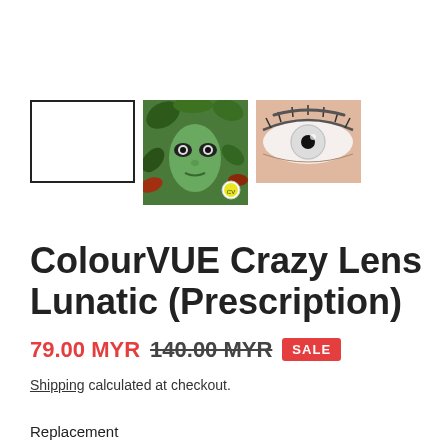[Figure (photo): Three product images: an empty white rectangle placeholder, a green fantasy face with contact lenses, and a close-up eye with white contact lens]
ColourVUE Crazy Lens Lunatic (Prescription)
79.00 MYR  140.00 MYR  SALE
Shipping calculated at checkout.
Replacement